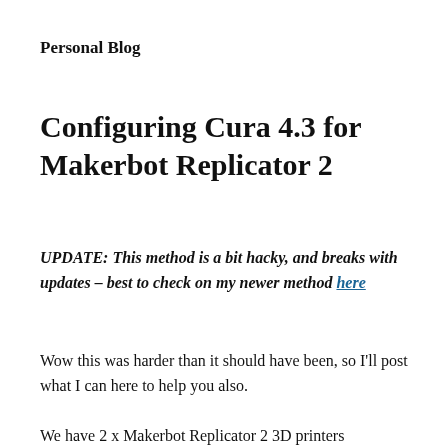Personal Blog
Configuring Cura 4.3 for Makerbot Replicator 2
UPDATE: This method is a bit hacky, and breaks with updates – best to check on my newer method here
Wow this was harder than it should have been, so I'll post what I can here to help you also.
We have 2 x Makerbot Replicator 2 3D printers